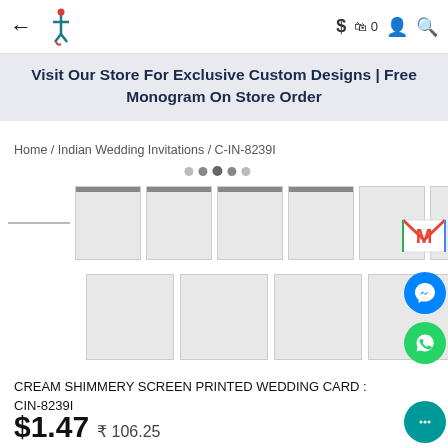← [logo] $ 🛍 0 👤 🔍
Visit Our Store For Exclusive Custom Designs | Free Monogram On Store Order
Home / Indian Wedding Invitations / C-IN-8239I
[Figure (screenshot): Thumbnail image gallery showing multiple loading/blank card images in two rows, with a loading spinner, a Gmail icon, Facebook Messenger icon, and WhatsApp icon on the right side]
CREAM SHIMMERY SCREEN PRINTED WEDDING CARD : CIN-8239I
$1.47 ₹ 106.25